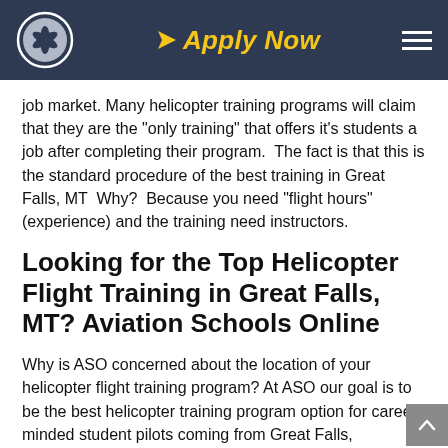Apply Now
job market. Many helicopter training programs will claim that they are the "only training" that offers it's students a job after completing their program.  The fact is that this is the standard procedure of the best training in Great Falls, MT  Why?  Because you need "flight hours" (experience) and the training need instructors.
Looking for the Top Helicopter Flight Training in Great Falls, MT? Aviation Schools Online
Why is ASO concerned about the location of your helicopter flight training program? At ASO our goal is to be the best helicopter training program option for career-minded student pilots coming from Great Falls,